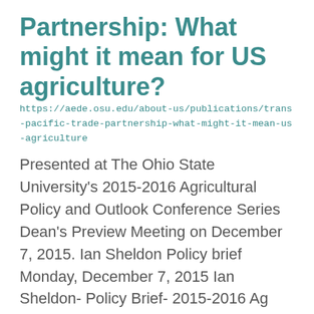Partnership: What might it mean for US agriculture?
https://aede.osu.edu/about-us/publications/trans-pacific-trade-partnership-what-might-it-mean-us-agriculture
Presented at The Ohio State University's 2015-2016 Agricultural Policy and Outlook Conference Series  Dean's Preview Meeting on December 7, 2015. Ian Sheldon Policy brief Monday, December 7, 2015 Ian Sheldon- Policy Brief- 2015-2016 Ag Policy C ...
Agronomy
https://auglaize.osu.edu/program-